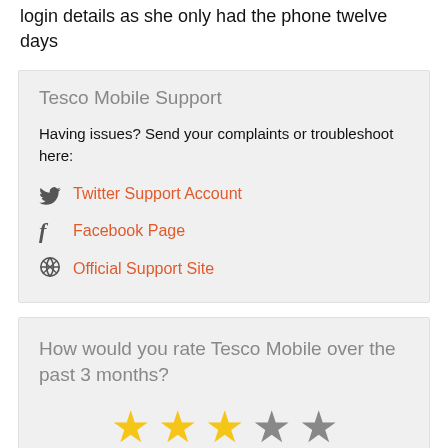login details as she only had the phone twelve days
Tesco Mobile Support
Having issues? Send your complaints or troubleshoot here:
Twitter Support Account
Facebook Page
Official Support Site
How would you rate Tesco Mobile over the past 3 months?
[Figure (other): 5-star rating display showing 3 filled yellow stars and 2 empty grey stars]